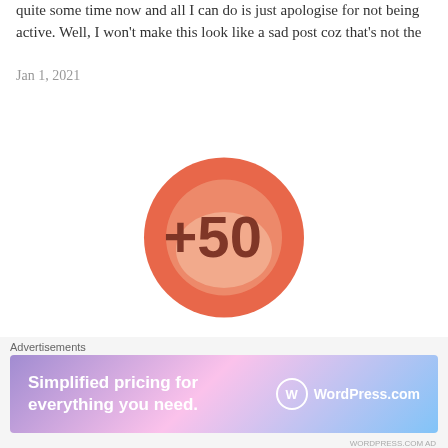quite some time now and all I can do is just apologise for not being active. Well, I won't make this look like a sad post coz that's not the
Jan 1, 2021
[Figure (infographic): Orange-red circular badge with +50 in the center, on a light background]
Congratulations on getting 50 total follows on The Bold
50 Followers!!!
May 20, 2020
Proud Recipient Of The Sunshine Blogger
Advertisements
[Figure (screenshot): WordPress.com advertisement banner: Simplified pricing for everything you need.]